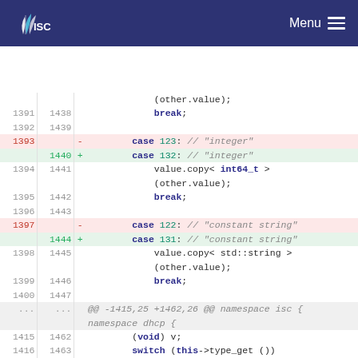ISC | Menu
Code diff view showing changes to case numbers in a C++ switch statement. Lines 1393/1397 removed (case 123, case 122), lines 1440/1444 added (case 132, case 131). Context includes value.copy<int64_t>, value.copy<std::string>, break statements, and a hunk header @@ -1415,25 +1462,26 @@ namespace isc { namespace dhcp {